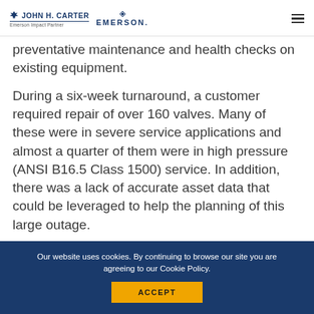JOHN H. CARTER | Emerson Impact Partner | EMERSON.
preventative maintenance and health checks on existing equipment.
During a six-week turnaround, a customer required repair of over 160 valves. Many of these were in severe service applications and almost a quarter of them were in high pressure (ANSI B16.5 Class 1500) service. In addition, there was a lack of accurate asset data that could be leveraged to help the planning of this large outage.
Our website uses cookies. By continuing to browse our site you are agreeing to our Cookie Policy.
ACCEPT